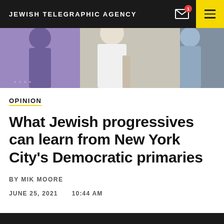JEWISH TELEGRAPHIC AGENCY
[Figure (photo): Cropped photo of people, partially visible from waist up against a purple/light background]
OPINION
What Jewish progressives can learn from New York City’s Democratic primaries
BY MIK MOORE
JUNE 25, 2021   10:44 AM